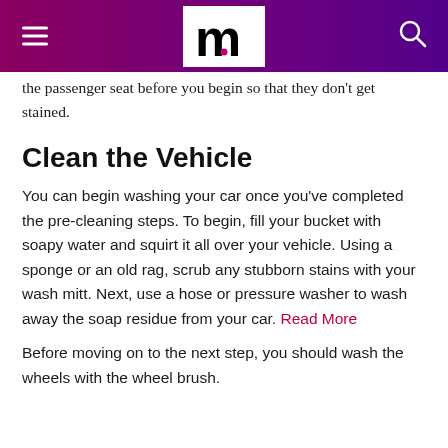m (logo)
the passenger seat before you begin so that they don't get stained.
Clean the Vehicle
You can begin washing your car once you've completed the pre-cleaning steps. To begin, fill your bucket with soapy water and squirt it all over your vehicle. Using a sponge or an old rag, scrub any stubborn stains with your wash mitt. Next, use a hose or pressure washer to wash away the soap residue from your car. Read More
Before moving on to the next step, you should wash the wheels with the wheel brush.